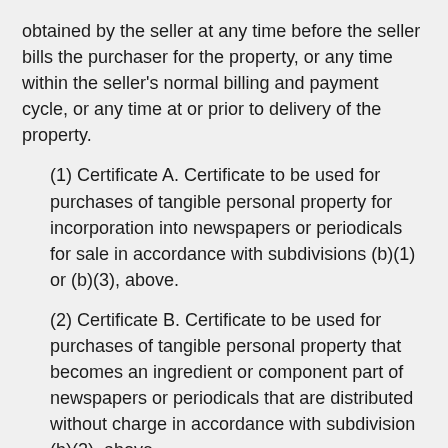obtained by the seller at any time before the seller bills the purchaser for the property, or any time within the seller's normal billing and payment cycle, or any time at or prior to delivery of the property.
(1) Certificate A. Certificate to be used for purchases of tangible personal property for incorporation into newspapers or periodicals for sale in accordance with subdivisions (b)(1) or (b)(3), above.
(2) Certificate B. Certificate to be used for purchases of tangible personal property that becomes an ingredient or component part of newspapers or periodicals that are distributed without charge in accordance with subdivision (b)(2), above.